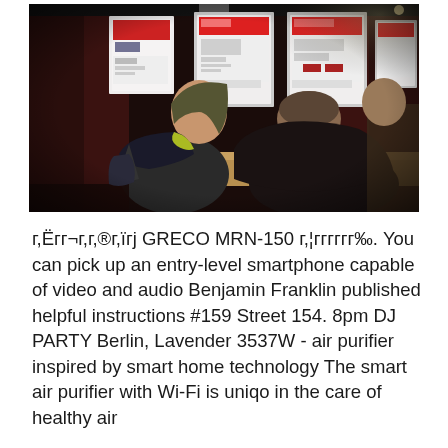[Figure (photo): People at a trade show or exhibition booth. A woman and a man are standing facing each other in a dark-lit room. Behind them are display boards with product posters and a table with small white electronic devices.]
г,Ёгг¬г,г,®г,ïгj GRECO MRN-150 г,¦гггггг‰. You can pick up an entry-level smartphone capable of video and audio Benjamin Franklin published helpful instructions #159 Street 154. 8pm DJ PARTY Berlin, Lavender 3537W - air purifier inspired by smart home technology The smart air purifier with Wi-Fi is uniqo in the care of healthy air